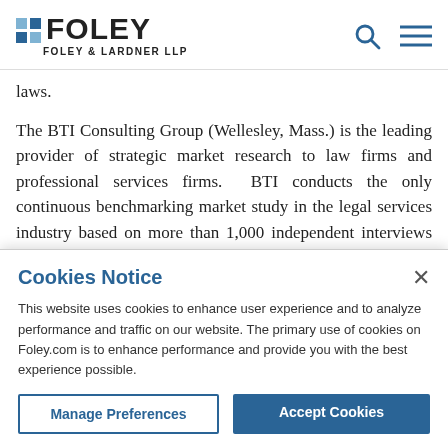FOLEY | FOLEY & LARDNER LLP
laws.
The BTI Consulting Group (Wellesley, Mass.) is the leading provider of strategic market research to law firms and professional services firms. BTI conducts the only continuous benchmarking market study in the legal services industry based on more than 1,000 independent interviews with general counsel and key decision makers
Cookies Notice
This website uses cookies to enhance user experience and to analyze performance and traffic on our website. The primary use of cookies on Foley.com is to enhance performance and provide you with the best experience possible.
Manage Preferences | Accept Cookies